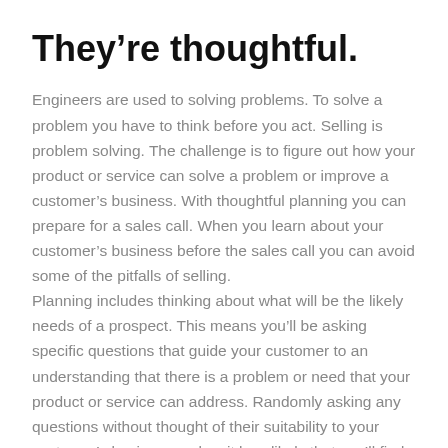They’re thoughtful.
Engineers are used to solving problems. To solve a problem you have to think before you act. Selling is problem solving. The challenge is to figure out how your product or service can solve a problem or improve a customer’s business. With thoughtful planning you can prepare for a sales call. When you learn about your customer’s business before the sales call you can avoid some of the pitfalls of selling.
Planning includes thinking about what will be the likely needs of a prospect. This means you’ll be asking specific questions that guide your customer to an understanding that there is a problem or need that your product or service can address. Randomly asking any questions without thought of their suitability to your customer’s business makes it less likely that you’ll find a match.